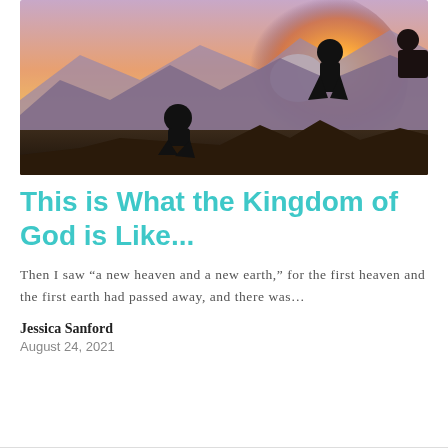[Figure (photo): Two silhouetted people sitting/standing on a rocky mountain ridge at sunset, with mountain ranges in the background and a warm orange-yellow glow from the sun.]
This is What the Kingdom of God is Like...
Then I saw “a new heaven and a new earth,” for the first heaven and the first earth had passed away, and there was…
Jessica Sanford
August 24, 2021